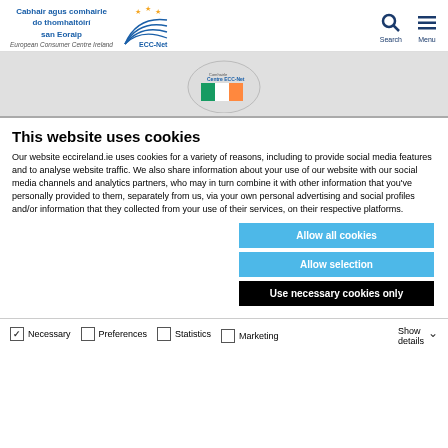Cabhair agus comhairle do thomhaltóirí san Eoraip | ECC-Net | European Consumer Centre Ireland | Search | Menu
[Figure (logo): ECC-Net Ireland logo with Irish flag motif]
This website uses cookies
Our website eccireland.ie uses cookies for a variety of reasons, including to provide social media features and to analyse website traffic. We also share information about your use of our website with our social media channels and analytics partners, who may in turn combine it with other information that you've personally provided to them, separately from us, via your own personal advertising and social profiles and/or information that they collected from your use of their services, on their respective platforms.
Allow all cookies
Allow selection
Use necessary cookies only
Necessary | Preferences | Statistics | Marketing | Show details